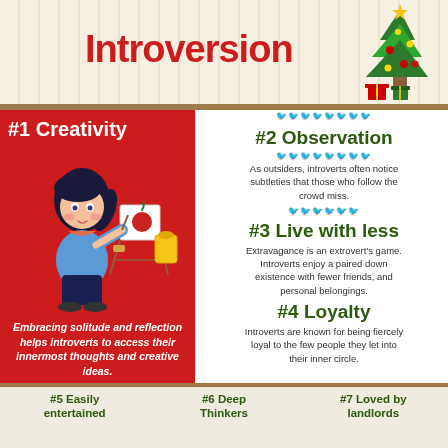Introversion
[Figure (illustration): Christmas tree with ornaments and gift boxes, decorative illustration top right]
#1 Creativity
[Figure (illustration): Cartoon girl with dark hair in ponytail painting on an easel, standing on red background]
Embracing solitude and reflection helps introverts to access their innermost thoughts and creative ideas.
#2 Observation
As outsiders, introverts often notice subtleties that those who follow the crowd miss.
#3 Live with less
Extravagance is an extrovert's game. Introverts enjoy a paired down existence with fewer friends, and personal belongings.
#4 Loyalty
Introverts are known for being fiercely loyal to the few people they let into their inner circle.
#5 Easily entertained
#6 Deep Thinkers
#7 Loved by landlords